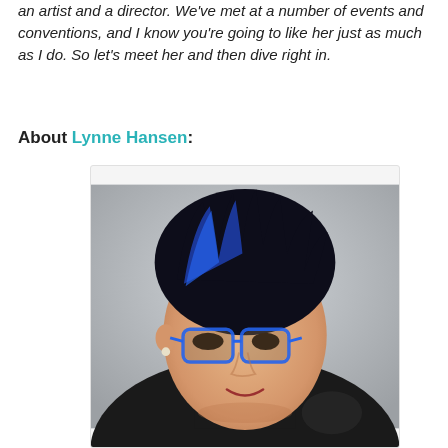an artist and a director. We've met at a number of events and conventions, and I know you're going to like her just as much as I do. So let's meet her and then dive right in.
About Lynne Hansen:
[Figure (photo): Portrait photograph of Lynne Hansen, a woman with short spiky black hair with blue highlights, wearing blue-framed glasses and a black top, looking slightly downward. Light gray studio background.]